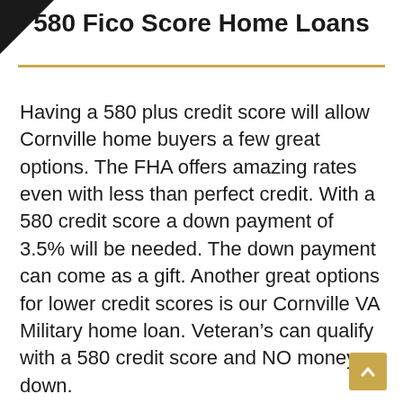580 Fico Score Home Loans
Having a 580 plus credit score will allow Cornville home buyers a few great options. The FHA offers amazing rates even with less than perfect credit. With a 580 credit score a down payment of 3.5% will be needed. The down payment can come as a gift. Another great options for lower credit scores is our Cornville VA Military home loan. Veteran’s can qualify with a 580 credit score and NO money down.